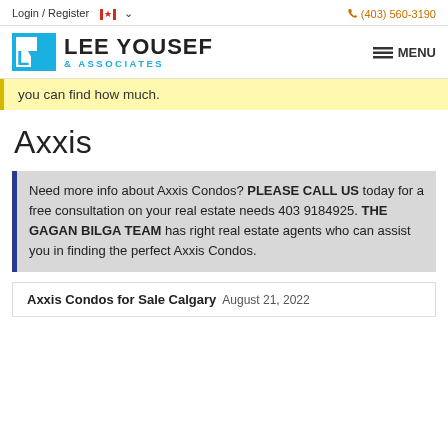Login / Register   (403) 560-3190
[Figure (logo): Lee Yousef & Associates logo with blue square icon and text]
you can find how much.
Axxis
Need more info about Axxis Condos? PLEASE CALL US today for a free consultation on your real estate needs 403 9184925. THE GAGAN BILGA TEAM has right real estate agents who can assist you in finding the perfect Axxis Condos.
Axxis Condos for Sale Calgary  August 21, 2022